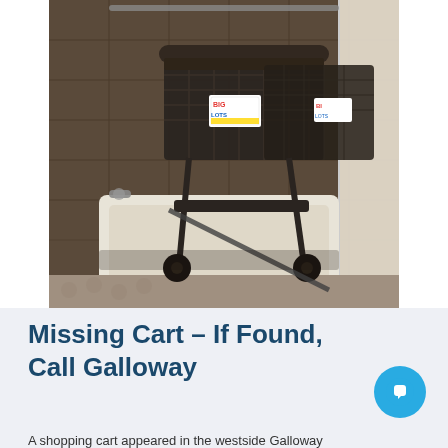[Figure (photo): A Big Lots shopping cart sitting inside a bathtub in a bathroom. The cart is dark/black colored with a Big Lots label visible. The bathroom has tile walls, a white bathtub, and a shower curtain on the right side.]
Missing Cart – If Found, Call Galloway
A shopping cart appeared in the westside Galloway